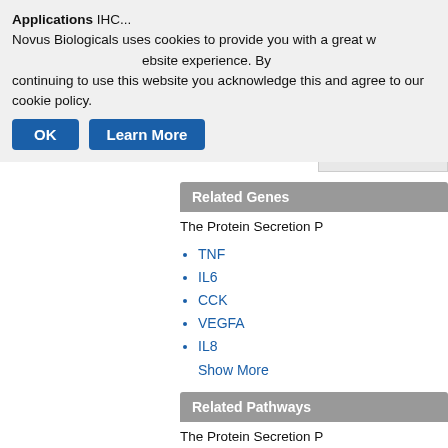Novus Biologicals uses cookies to provide you with a great website experience. By continuing to use this website you acknowledge this and agree to our cookie policy.
OK   Learn More
Related Genes
The Protein Secretion P
TNF
IL6
CCK
VEGFA
IL8
Show More
Related Pathways
The Protein Secretion P